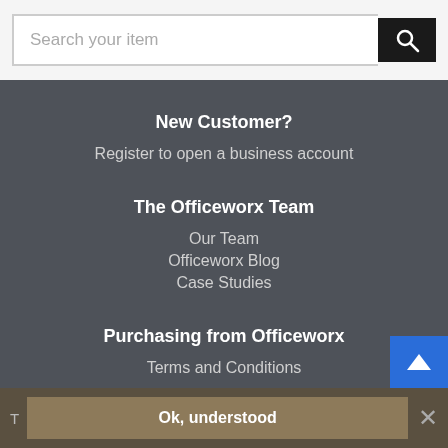[Figure (screenshot): Search bar with text input field 'Search your item' and black search button with magnifying glass icon]
New Customer?
Register to open a business account
The Officeworx Team
Our Team
Officeworx Blog
Case Studies
Purchasing from Officeworx
Terms and Conditions
T  Ok, understood  ×